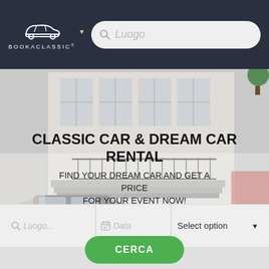[Figure (logo): BookAClassic logo with car silhouette icon and text]
[Figure (screenshot): Search bar with placeholder text 'Luogo' and search icon in dark header]
[Figure (photo): Hero background photo of a classic car outside a building with iron railings]
CLASSIC CAR & DREAM CAR RENTAL
FIND YOUR DREAM CAR AND GET A PRICE FOR YOUR EVENT NOW!
[Figure (screenshot): Search form with Luogo location field, Data date field, and Select option dropdown]
CERCA